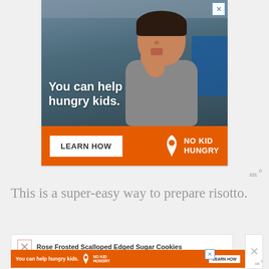[Figure (photo): Advertisement banner featuring a young boy in a classroom setting eating food, with text 'You can help hungry kids.' overlaid on the photo, and an orange bottom bar with 'LEARN HOW' button and 'NO KID HUNGRY' logo.]
This is a super-easy way to prepare risotto.
Rose Frosted Scalloped Edged Sugar Cookies
[Figure (photo): Second smaller advertisement banner: 'You can help hungry kids.' with No Kid Hungry logo and 'LEARN HOW' button on orange background.]